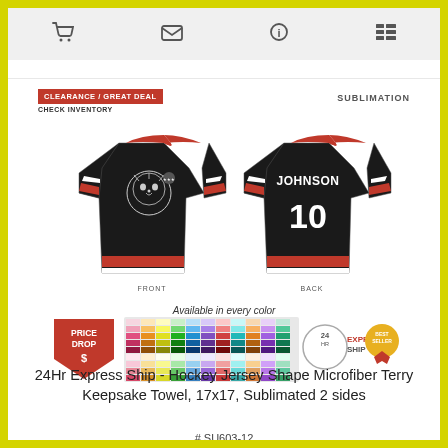[Figure (screenshot): Navigation bar with cart, email, info, and list icons]
[Figure (illustration): Clearance/Great Deal badge and Check Inventory text on left; SUBLIMATION label on right]
[Figure (illustration): Front and back view of black hockey jersey with red/white accents, wildcat logo on front, JOHNSON #10 on back]
FRONT
BACK
[Figure (infographic): Color swatch strip, Price Drop badge, 24HR Express Ship badge, Best Seller badge]
Available in every color
24Hr Express Ship - Hockey Jersey Shape Microfiber Terry Keepsake Towel, 17x17, Sublimated 2 sides
# SU603-12